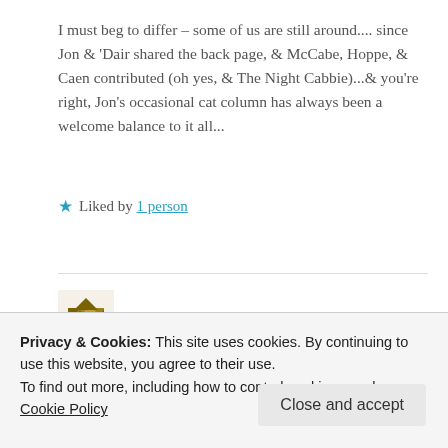I must beg to differ – some of us are still around.... since Jon & 'Dair shared the back page, & McCabe, Hoppe, & Caen contributed (oh yes, & The Night Cabbie)...& you're right, Jon's occasional cat column has always been a welcome balance to it all...
★ Liked by 1 person
DMc
Privacy & Cookies: This site uses cookies. By continuing to use this website, you agree to their use. To find out more, including how to control cookies, see here: Cookie Policy
Close and accept